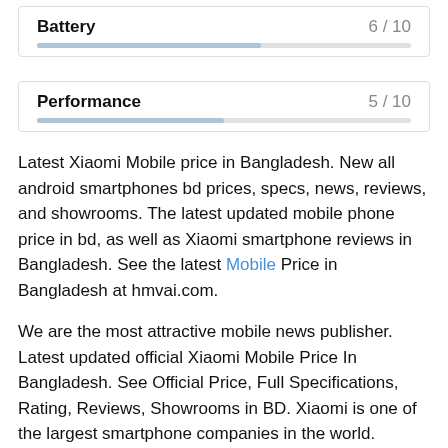[Figure (other): Battery rating card showing 6/10 with a progress bar]
[Figure (other): Performance rating card showing 5/10 with a progress bar]
Latest Xiaomi Mobile price in Bangladesh. New all android smartphones bd prices, specs, news, reviews, and showrooms. The latest updated mobile phone price in bd, as well as Xiaomi smartphone reviews in Bangladesh. See the latest Mobile Price in Bangladesh at hmvai.com.
We are the most attractive mobile news publisher. Latest updated official Xiaomi Mobile Price In Bangladesh. See Official Price, Full Specifications, Rating, Reviews, Showrooms in BD. Xiaomi is one of the largest smartphone companies in the world.